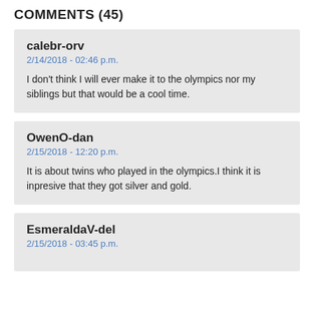COMMENTS (45)
calebr-orv
2/14/2018 - 02:46 p.m.

I don't think I will ever make it to the olympics nor my siblings but that would be a cool time.
OwenO-dan
2/15/2018 - 12:20 p.m.

It is about twins who played in the olympics.I think it is inpresive that they got silver and gold.
EsmeraldaV-del
2/15/2018 - 03:45 p.m.